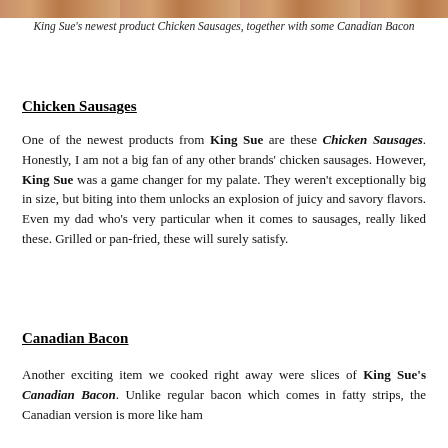[Figure (photo): Top strip of a food photo showing chicken sausages and Canadian bacon]
King Sue's newest product Chicken Sausages, together with some Canadian Bacon
Chicken Sausages
One of the newest products from King Sue are these Chicken Sausages. Honestly, I am not a big fan of any other brands' chicken sausages. However, King Sue was a game changer for my palate. They weren't exceptionally big in size, but biting into them unlocks an explosion of juicy and savory flavors. Even my dad who's very particular when it comes to sausages, really liked these. Grilled or pan-fried, these will surely satisfy.
Canadian Bacon
Another exciting item we cooked right away were slices of King Sue's Canadian Bacon. Unlike regular bacon which comes in fatty strips, the Canadian version is more like ham